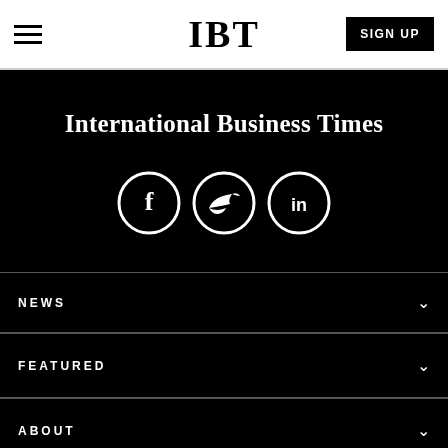IBT | SIGN UP
International Business Times
[Figure (illustration): Three social media icons in white circles on black background: Facebook (f), Twitter (bird), LinkedIn (in)]
NEWS
FEATURED
ABOUT